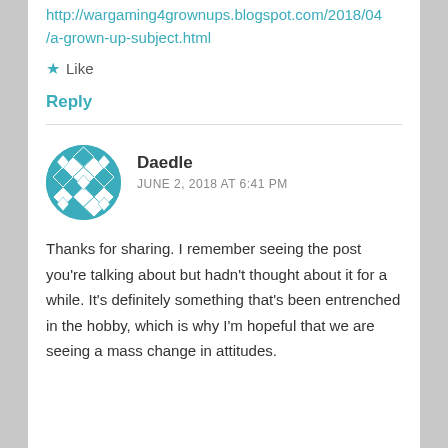http://wargaming4grownups.blogspot.com/2018/04/a-grown-up-subject.html
★ Like
Reply
[Figure (illustration): Circular avatar with teal geometric quilt-like pattern]
Daedle
JUNE 2, 2018 AT 6:41 PM
Thanks for sharing. I remember seeing the post you're talking about but hadn't thought about it for a while. It's definitely something that's been entrenched in the hobby, which is why I'm hopeful that we are seeing a mass change in attitudes.